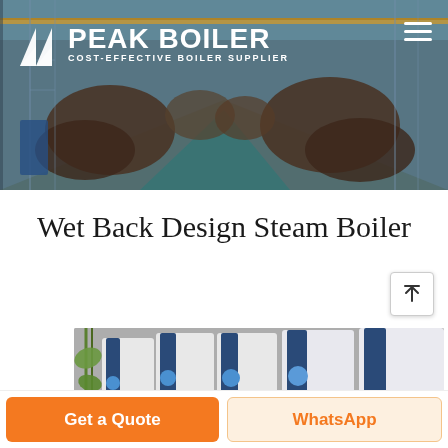[Figure (photo): Peak Boiler factory/manufacturing facility interior showing large cylindrical boiler equipment and industrial overhead cranes, used as header banner background]
PEAK BOILER — COST-EFFECTIVE BOILER SUPPLIER
Wet Back Design Steam Boiler
[Figure (photo): Row of white and dark-blue industrial steam boilers (labeled HS-700, HS-750, HS-790) displayed outdoors in front of a wall with bamboo plants]
Get a Quote
WhatsApp